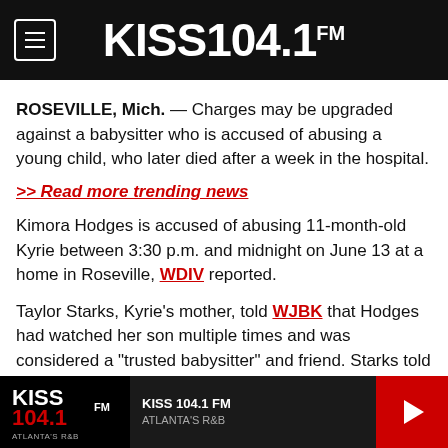KISS 104.1 FM
ROSEVILLE, Mich. — Charges may be upgraded against a babysitter who is accused of abusing a young child, who later died after a week in the hospital.
>> Read more trending news
Kimora Hodges is accused of abusing 11-month-old Kyrie between 3:30 p.m. and midnight on June 13 at a home in Roseville, WDIV reported.
Taylor Starks, Kyrie's mother, told WJBK that Hodges had watched her son multiple times and was considered a “trusted babysitter” and friend. Starks told the station that initially, Hodges sent her a message saying that
KISS 104.1 FM | ATLANTA'S R&B